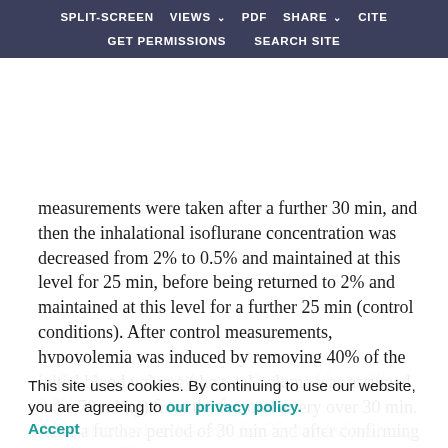SPLIT-SCREEN  VIEWS  PDF  SHARE  CITE  GET PERMISSIONS  SEARCH SITE
measurements were taken after a further 30 min, and then the inhalational isoflurane concentration was decreased from 2% to 0.5% and maintained at this level for 25 min, before being returned to 2% and maintained at this level for a further 25 min (control conditions). After control measurements, hypovolemia was induced by removing 40% of the initial blood volume (the total volume was assumed to be 70 ml/kg) from the femoral artery over 30 min. After a further period of 30 min and after confirming the stability of the electroencephalogram, the inhalational isoflurane concentration was decreased from 2% to 0.5% and maintained at this level for 25 min, before being returned to 2% and maintained at this level for a further 25 min, in a similar manner to the control (40% bleeding
This site uses cookies. By continuing to use our website, you are agreeing to our privacy policy.
Accept